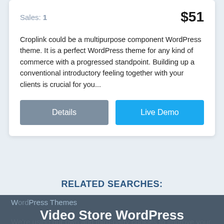Sales: 1
$51
Croplink could be a multipurpose component WordPress theme. It is a perfect WordPress theme for any kind of commerce with a progressed standpoint. Building up a conventional introductory feeling together with your clients is crucial for you...
Details
Live Demo
RELATED SEARCHES:
We're using our own and third-party cookies to improve your experience and our website. Keep on browsing to accept our cookie policy.
Accept
Video Store WordPress